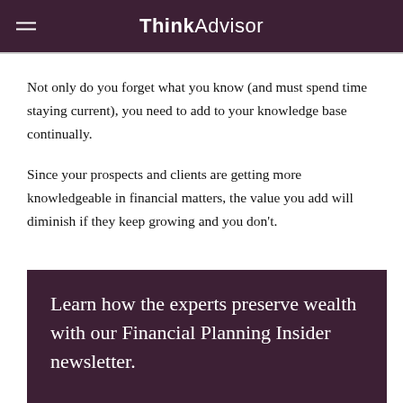ThinkAdvisor
Not only do you forget what you know (and must spend time staying current), you need to add to your knowledge base continually.
Since your prospects and clients are getting more knowledgeable in financial matters, the value you add will diminish if they keep growing and you don't.
Learn how the experts preserve wealth with our Financial Planning Insider newsletter.